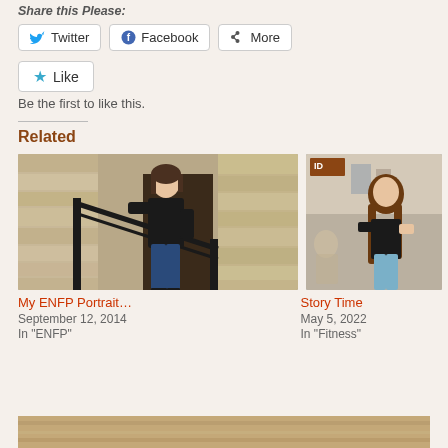Share this Please:
Twitter | Facebook | More (share buttons)
Like button
Be the first to like this.
Related
[Figure (photo): Woman in black top and jeans standing on steps next to metal railing, stone building backdrop]
My ENFP Portrait...
September 12, 2014
In "ENFP"
[Figure (photo): Woman with long brown hair in black top and light blue pants, indoor setting]
Story Time
May 5, 2022
In "Fitness"
[Figure (photo): Partial bottom image strip]